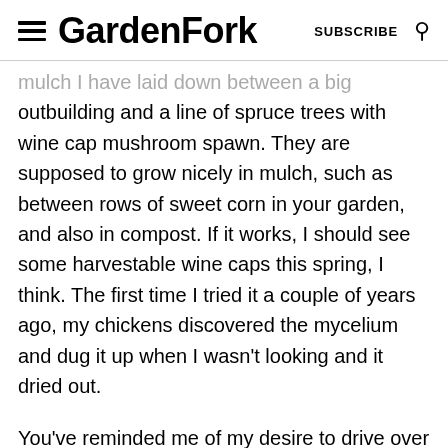GardenFork  SUBSCRIBE
mulch I have laid down between a big outbuilding and a line of spruce trees with wine cap mushroom spawn. They are supposed to grow nicely in mulch, such as between rows of sweet corn in your garden, and also in compost. If it works, I should see some harvestable wine caps this spring, I think. The first time I tried it a couple of years ago, my chickens discovered the mycelium and dug it up when I wasn't looking and it dried out.
You've reminded me of my desire to drive over to the mulch transfer station in